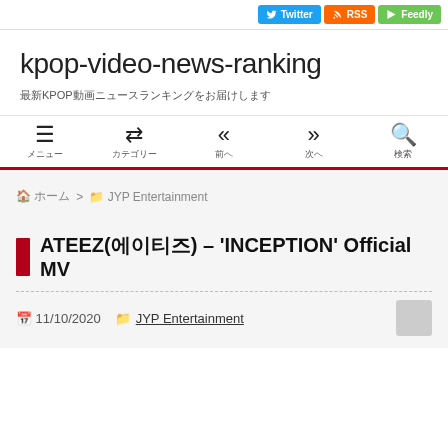Twitter  RSS  Feedly
kpop-video-news-ranking
最新KPOP動画ニュースランキングをお届けします
メニュー  カテゴリー  前へ  次へ  検索
ホーム > JYP Entertainment
ATEEZ(에이티즈) – 'INCEPTION' Official MV
11/10/2020  JYP Entertainment